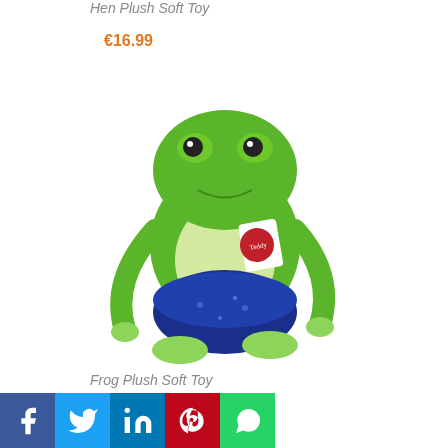Hen Plush Soft Toy
€16.99
[Figure (photo): A green frog plush soft toy sitting upright, wearing a blue sparkly outfit, with a red brand tag on its chest]
Frog Plush Soft Toy
€14.99
[Figure (infographic): Social media share buttons: Facebook (blue), Twitter (light blue), LinkedIn (dark blue), Pinterest (red), WhatsApp (green)]